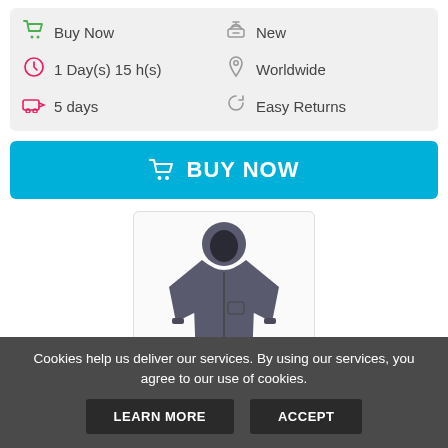Buy Now | New | 1 Day(s) 15 h(s) | Worldwide | 5 days | Easy Returns
BUY NOW
[Figure (photo): Grey hooded waterproof jacket product photo]
Regatta Tarnel Lightweight Waterproo...
$26.39
Cookies help us deliver our services. By using our services, you agree to our use of cookies.
LEARN MORE
ACCEPT